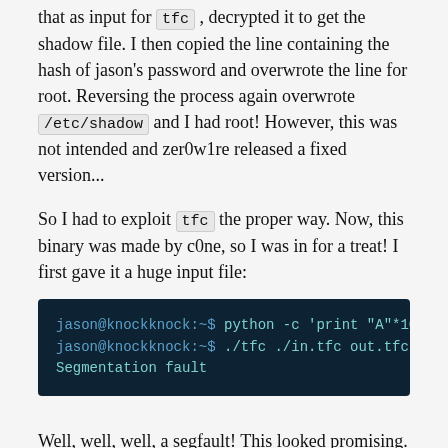that as input for tfc , decrypted it to get the shadow file. I then copied the line containing the hash of jason's password and overwrote the line for root. Reversing the process again overwrote /etc/shadow and I had root! However, this was not intended and zer0w1re released a fixed version...
So I had to exploit tfc the proper way. Now, this binary was made by c0ne, so I was in for a treat! I first gave it a huge input file:
[Figure (screenshot): Terminal code block showing: jason@knockknock:~$ python -c 'print "A"*10000' > i; jason@knockknock:~$ ./tfc ./in.tfc out.tfc; Segmentation fault]
Well, well, well, a segfault! This looked promising. Unfortunately, gdb was not installed on this VM, so I transferred the binary over to my box and repeated the